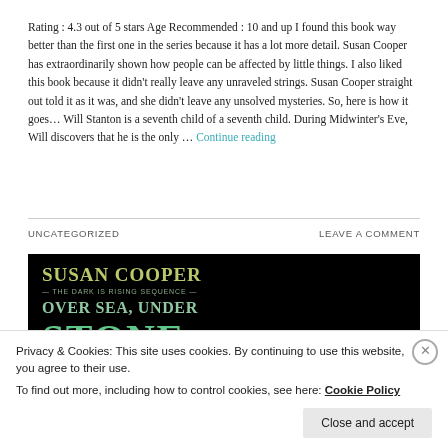Rating : 4.3 out of 5 stars Age Recommended : 10 and up I found this book way better than the first one in the series because it has a lot more detail. Susan Cooper has extraordinarily shown how people can be affected by little things. I also liked this book because it didn't really leave any unraveled strings. Susan Cooper straight out told it as it was, and she didn't leave any unsolved mysteries. So, here is how it goes… Will Stanton is a seventh child of a seventh child. During Midwinter's Eve, Will discovers that he is the only … Continue reading
UNCATEGORIZED
LEAVE A COMMENT
[Figure (photo): Book cover of 'Over Sea, Under Stone' by Susan Cooper — The Dark Is Rising Sequence. Black background with green/gold stylized text.]
Privacy & Cookies: This site uses cookies. By continuing to use this website, you agree to their use. To find out more, including how to control cookies, see here: Cookie Policy
Close and accept